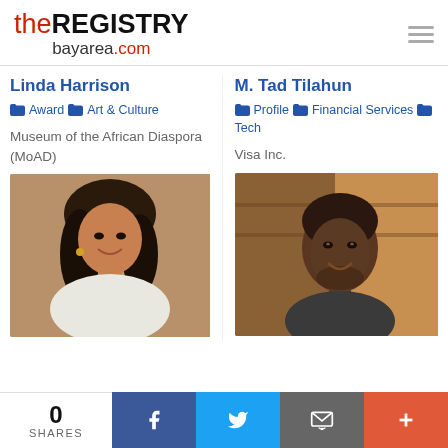theREGISTRY bayarea.com
Linda Harrison
Award  Art & Culture
Museum of the African Diaspora (MoAD)
[Figure (photo): Portrait photo of Linda Harrison, a woman smiling, wearing white jacket, dark hair]
M. Tad Tilahun
Profile  Financial Services  Tech
Visa Inc.
[Figure (photo): Portrait photo of M. Tad Tilahun, a man smiling, in a restaurant setting]
0 SHARES  [Facebook] [Twitter] [Email] [+]